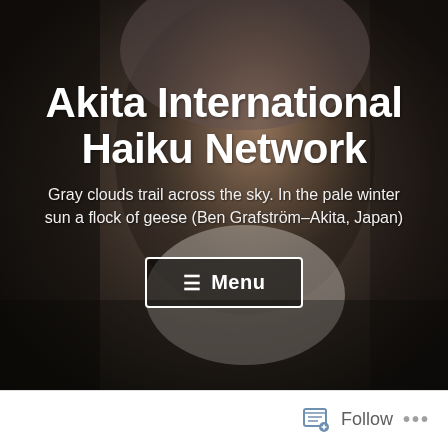[Figure (photo): Close-up portrait of a middle-aged man with gray-streaked beard and short gray hair, wearing a gray striped sweater, photographed in a dimly lit indoor setting. The image serves as the hero background for the Akita International Haiku Network website.]
Akita International Haiku Network
Gray clouds trail across the sky. In the pale winter sun a flock of geese (Ben Grafström–Akita, Japan)
≡ Menu
Follow ...